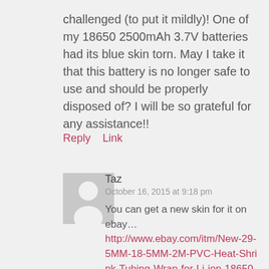challenged (to put it mildly)! One of my 18650 2500mAh 3.7V batteries had its blue skin torn. May I take it that this battery is no longer safe to use and should be properly disposed of? I will be so grateful for any assistance!!
Reply   Link
Taz
October 16, 2015 at 9:18 pm
You can get a new skin for it on ebay… http://www.ebay.com/itm/New-29-5MM-18-5MM-2M-PVC-Heat-Shrink-Tubing-Wrap-for-Li-ion-18650-18500-Battery-/351209299576?var=&hash=item51c5b49e78:m:mIZjbMo1heHHWQY0WLpdIOA